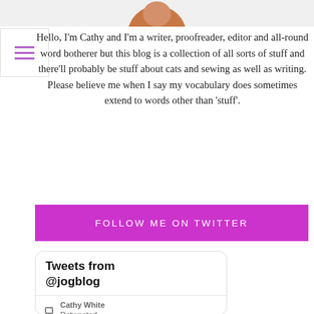[Figure (photo): Partial view of a person's profile photo, showing the top portion of a head with reddish-brown hair against a light background]
Hello, I'm Cathy and I'm a writer, proofreader, editor and all-round word botherer but this blog is a collection of all sorts of stuff and there'll probably be stuff about cats and sewing as well as writing. Please believe me when I say my vocabulary does sometimes extend to words other than 'stuff'.
FOLLOW ME ON TWITTER
Tweets from @jogblog
Cathy White Retweeted
The Folk...
@... · Aug 12